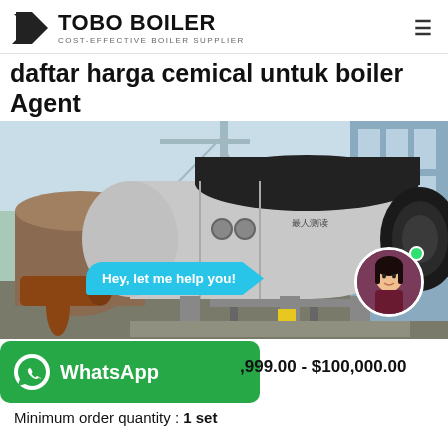TOBO BOILER — COST-EFFECTIVE BOILER SUPPLIER
daftar harga cemical untuk boiler Agent
[Figure (photo): Industrial fire-tube boiler in a factory yard with crane and storage tanks in background. Chat bubble overlay says 'Hey, let me help you!' with a female customer service avatar.]
,999.00 - $100,000.00
Minimum order quantity : 1 set